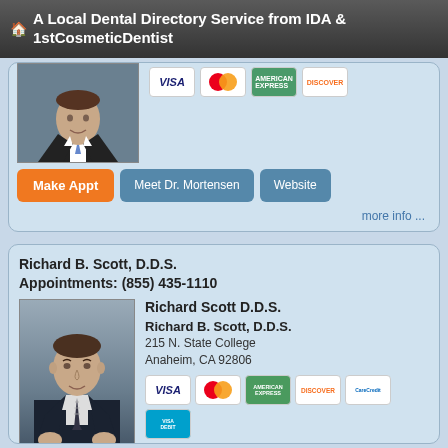A Local Dental Directory Service from IDA & 1stCosmeticDentist
[Figure (photo): Partial view of a dental professional photo with payment card icons (Visa, MasterCard, AmEx, Discover) and buttons: Make Appt, Meet Dr. Mortensen, Website. 'more info ...' link at bottom right.]
Richard B. Scott, D.D.S.
Appointments: (855) 435-1110
[Figure (photo): Portrait photo of Richard B. Scott D.D.S., a man in a dark suit]
Richard Scott D.D.S.
Richard B. Scott, D.D.S.
215 N. State College
Anaheim, CA 92806